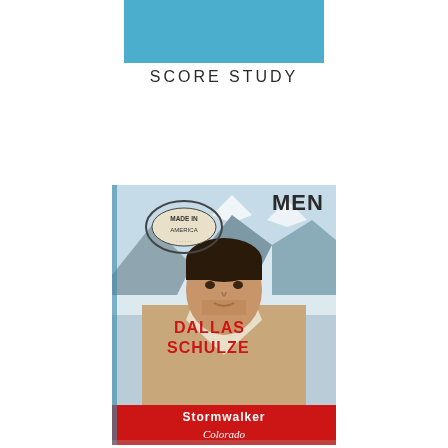[Figure (other): Blue rectangular shape at the top center of the page]
SCORE STUDY
[Figure (photo): Book cover for 'Stormwalker Colorado' by Dallas Schulze, part of the 'Made in America Men' series. Features a man with dark hair wearing a sheepskin jacket against a snowy mountain backdrop. The cover has a 'Made in America' oval stamp, author name in red block letters 'DALLAS SCHULZE', and title 'Stormwalker Colorado' on a red banner at the bottom. The word 'MEN' is visible in the top right corner.]